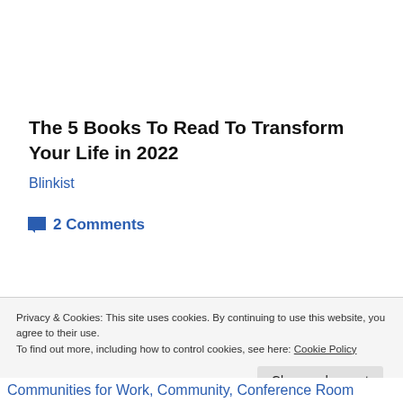The 5 Books To Read To Transform Your Life in 2022
Blinkist
2 Comments
Privacy & Cookies: This site uses cookies. By continuing to use this website, you agree to their use.
To find out more, including how to control cookies, see here: Cookie Policy
Close and accept
Communities for Work, Community, Conference Room